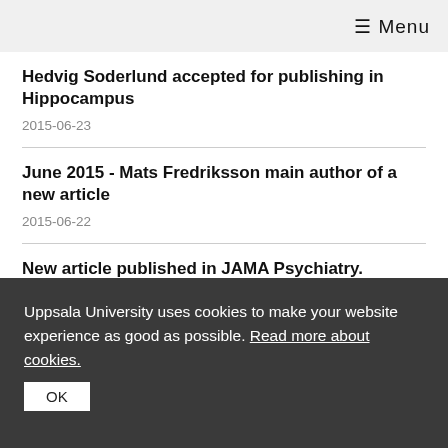≡ Menu
Hedvig Soderlund accepted for publishing in Hippocampus
2015-06-23
June 2015 - Mats Fredriksson main author of a new article
2015-06-22
New article published in JAMA Psychiatry. Several of the authors are from the department.
2015-06-18
Uppsala University uses cookies to make your website experience as good as possible. Read more about cookies.